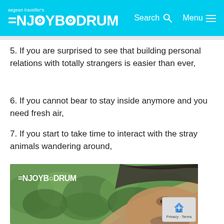aegean traveller's ENJOYBODRUM | Search | Menu
5. If you are surprised to see that building personal relations with totally strangers is easier than ever,
6. If you cannot bear to stay inside anymore and you need fresh air,
7. If you start to take time to interact with the stray animals wandering around,
[Figure (photo): Man smiling in selfie with green bushes/hedge in background, ENJOYBODRUM watermark in top left corner]